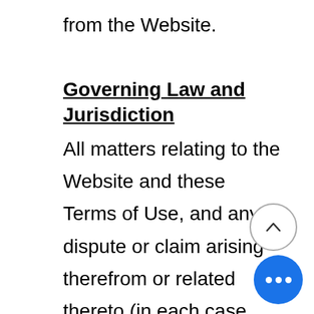from the Website.
Governing Law and Jurisdiction
All matters relating to the Website and these Terms of Use, and any dispute or claim arising therefrom or related thereto (in each case, including non-contractual disputes or claims), shall be governed by and construed in accordance with the internal laws of the State of Kentucky without